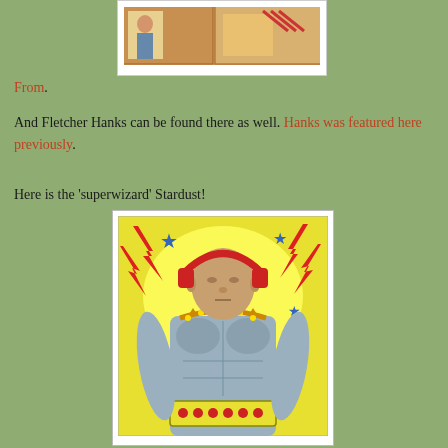[Figure (illustration): Partial comic strip image visible at top of page, showing colorful illustrated panels with warm tan/orange tones, framed in white border]
From.
And Fletcher Hanks can be found there as well. Hanks was featured here previously.
Here is the 'superwizard' Stardust!
[Figure (illustration): Comic book illustration of Stardust the 'superwizard' from Fletcher Hanks, showing a muscular bald figure wearing headphones/radio device, decorated necklace and belt, surrounded by yellow explosive glow, red lightning bolts, and blue stars on a yellow background]